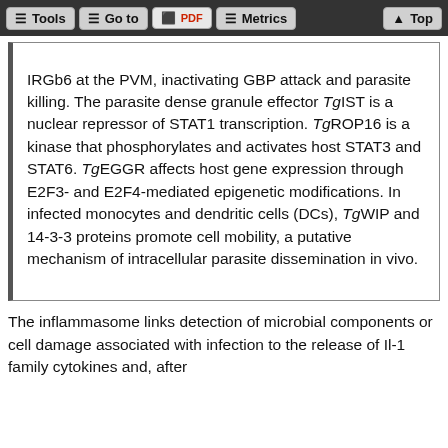Tools | Go to | PDF | Metrics | Top
IRGb6 at the PVM, inactivating GBP attack and parasite killing. The parasite dense granule effector TgIST is a nuclear repressor of STAT1 transcription. TgROP16 is a kinase that phosphorylates and activates host STAT3 and STAT6. TgEGGR affects host gene expression through E2F3- and E2F4-mediated epigenetic modifications. In infected monocytes and dendritic cells (DCs), TgWIP and 14-3-3 proteins promote cell mobility, a putative mechanism of intracellular parasite dissemination in vivo.
The inflammasome links detection of microbial components or cell damage associated with infection to the release of Il-1 family cytokines and, after